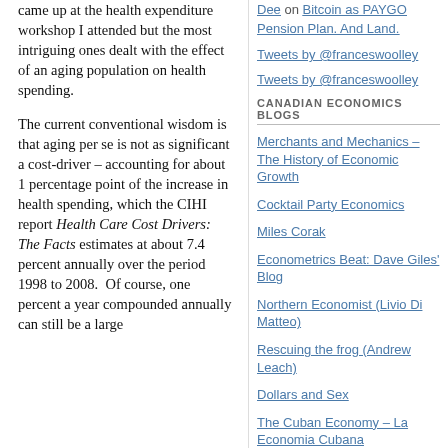came up at the health expenditure workshop I attended but the most intriguing ones dealt with the effect of an aging population on health spending.
The current conventional wisdom is that aging per se is not as significant a cost-driver – accounting for about 1 percentage point of the increase in health spending, which the CIHI report Health Care Cost Drivers: The Facts estimates at about 7.4 percent annually over the period 1998 to 2008. Of course, one percent a year compounded annually can still be a large
Dee on Bitcoin as PAYGO Pension Plan. And Land.
Tweets by @franceswoolley
Tweets by @franceswoolley
CANADIAN ECONOMICS BLOGS
Merchants and Mechanics – The History of Economic Growth
Cocktail Party Economics
Miles Corak
Econometrics Beat: Dave Giles' Blog
Northern Economist (Livio Di Matteo)
Rescuing the frog (Andrew Leach)
Dollars and Sex
The Cuban Economy – La Economia Cubana
Stephen Williamson
David Andolfatto: MacroMania